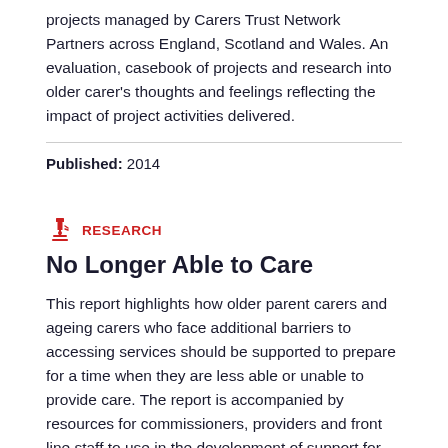projects managed by Carers Trust Network Partners across England, Scotland and Wales. An evaluation, casebook of projects and research into older carer's thoughts and feelings reflecting the impact of project activities delivered.
Published: 2014
RESEARCH
No Longer Able to Care
This report highlights how older parent carers and ageing carers who face additional barriers to accessing services should be supported to prepare for a time when they are less able or unable to provide care. The report is accompanied by resources for commissioners, providers and front line staff to use in the development of support for carers to plan for a